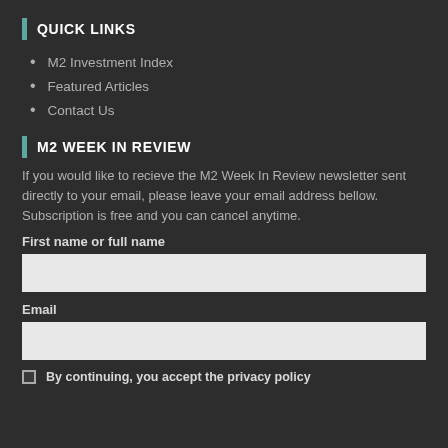QUICK LINKS
M2 Investment Index
Featured Articles
Contact Us
M2 WEEK IN REVIEW
If you would like to recieve the M2 Week In Review newsletter sent directly to your email, please leave your email address bellow. Subscription is free and you can cancel anytime.
First name or full name
Email
By continuing, you accept the privacy policy